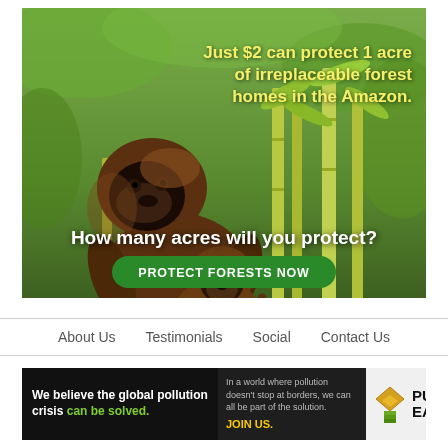[Figure (illustration): Amazon forest conservation ad with brown capuchin monkeys on bamboo, green forest background. Text: 'Just $2 can protect 1 acre of irreplaceable forest homes in the Amazon.' and 'How many acres will you protect?' with a green 'PROTECT FORESTS NOW' button.]
About Us
Testimonials
Social
Contact Us
[Figure (infographic): Pure Earth banner ad: 'We believe the global pollution crisis can be solved.' (with 'can be solved.' in green) | 'In a world where pollution doesn't stop at borders, we can all be part of the solution. JOIN US.' | Pure Earth logo with diamond/arrow icon.]